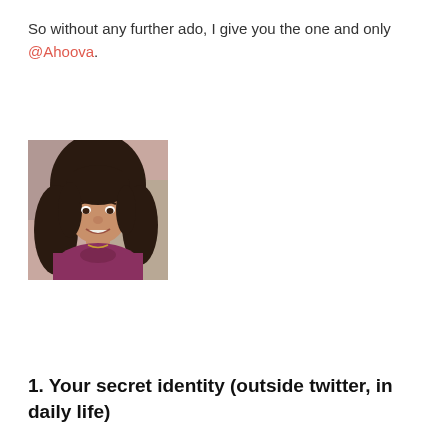So without any further ado, I give you the one and only @Ahoova.
[Figure (photo): Portrait photo of a young woman with long curly dark hair, smiling, wearing a purple/magenta top, indoor setting]
1. Your secret identity (outside twitter, in daily life)